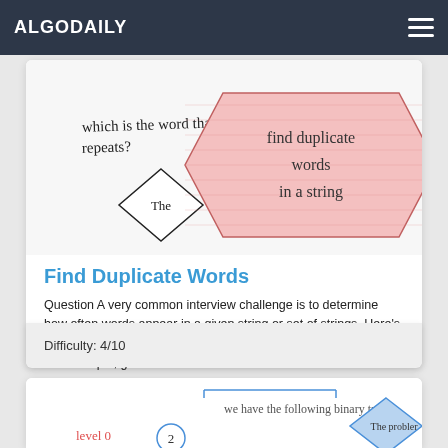ALGODAILY
[Figure (illustration): Hand-drawn style illustration showing a question 'which is the word that repeats?' with a diamond shape containing 'The', and a pink hexagonal shape with text 'Find duplicate words in a string']
Find Duplicate Words
Question A very common interview challenge is to determine how often words appear in a given string or set of strings. Here's a version of this: return a list of duplicate words in a sentence. For example, given 'Th...
Difficulty: 4/10
[Figure (illustration): Hand-drawn style illustration of a binary tree with 'we have the following binary tree' text, showing level 0 with node 2, and a blue diamond shape with 'The problem' text]